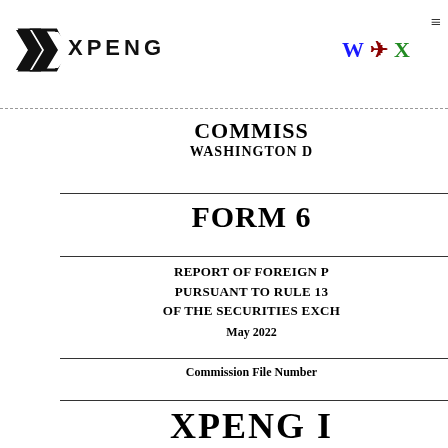[Figure (logo): XPENG logo — stylized X arrow mark followed by XPENG text in bold black]
[Figure (logo): WAX icons: W in blue, A in red, X in green — document format icons]
COMMISSION
WASHINGTON D
FORM 6
REPORT OF FOREIGN P
PURSUANT TO RULE 13
OF THE SECURITIES EXCH
May 2022
Commission File Number
XPENG I